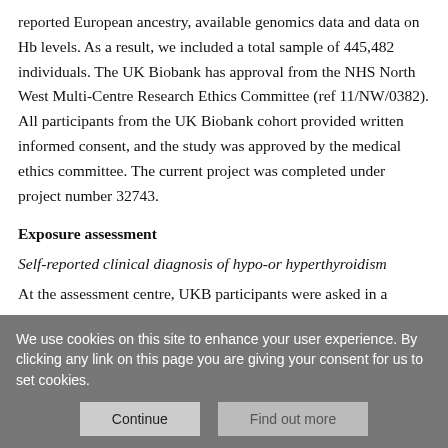reported European ancestry, available genomics data and data on Hb levels. As a result, we included a total sample of 445,482 individuals. The UK Biobank has approval from the NHS North West Multi-Centre Research Ethics Committee (ref 11/NW/0382). All participants from the UK Biobank cohort provided written informed consent, and the study was approved by the medical ethics committee. The current project was completed under project number 32743.
Exposure assessment
Self-reported clinical diagnosis of hypo-or hyperthyroidism
At the assessment centre, UKB participants were asked in a
We use cookies on this site to enhance your user experience. By clicking any link on this page you are giving your consent for us to set cookies.